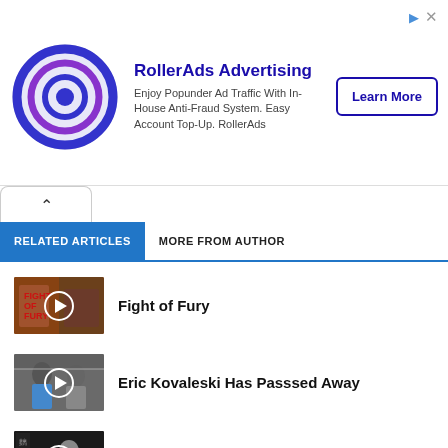[Figure (other): RollerAds Advertising banner with blue bullseye logo, text 'Enjoy Popunder Ad Traffic With In-House Anti-Fraud System. Easy Account Top-Up. RollerAds' and a 'Learn More' button]
RELATED ARTICLES   MORE FROM AUTHOR
Fight of Fury
[Figure (photo): Thumbnail for Fight of Fury video article with play button]
Eric Kovaleski Has Passsed Away
[Figure (photo): Thumbnail for Eric Kovaleski Has Passsed Away video article with play button]
Heart of Dragon (1985)
[Figure (photo): Thumbnail for Heart of Dragon (1985) video article with play button]